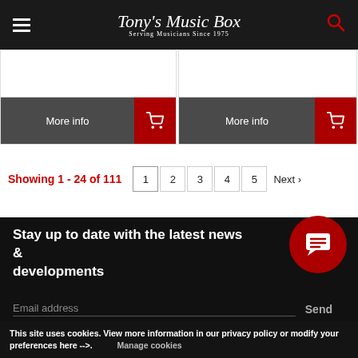Tony's Music Box – Serving Musicians Since 1975
[Figure (screenshot): Two product card button rows each with 'More info' dark button and red shopping cart button]
Showing 1 - 24 of 111
Pagination: 1 2 3 4 5 Next >
Stay up to date with the latest news & developments
Email address / Send
This site uses cookies. View more information in our privacy policy or modify your preferences here -->. Manage cookies